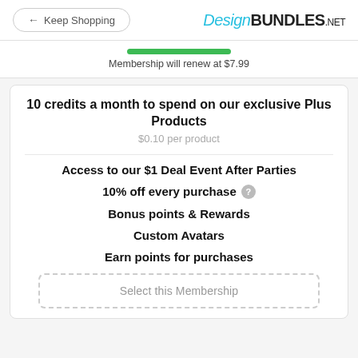← Keep Shopping | DesignBUNDLES.NET
Membership will renew at $7.99
10 credits a month to spend on our exclusive Plus Products
$0.10 per product
Access to our $1 Deal Event After Parties
10% off every purchase
Bonus points & Rewards
Custom Avatars
Earn points for purchases
Select this Membership